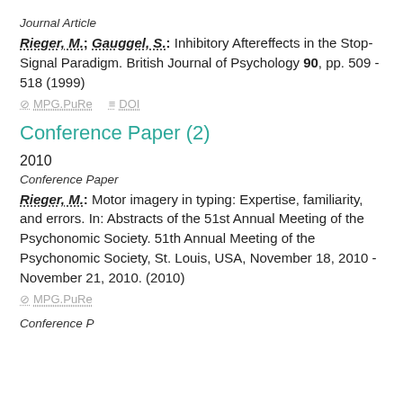Journal Article
Rieger, M.; Gauggel, S.: Inhibitory Aftereffects in the Stop-Signal Paradigm. British Journal of Psychology 90, pp. 509 - 518 (1999)
MPG.PuRe   DOI
Conference Paper (2)
2010
Conference Paper
Rieger, M.: Motor imagery in typing: Expertise, familiarity, and errors. In: Abstracts of the 51st Annual Meeting of the Psychonomic Society. 51th Annual Meeting of the Psychonomic Society, St. Louis, USA, November 18, 2010 - November 21, 2010. (2010)
MPG.PuRe
Conference Paper